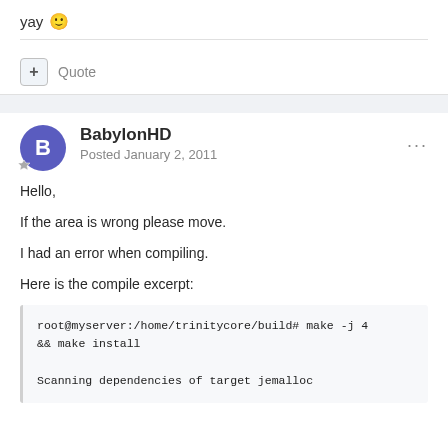yay 🙂
+ Quote
BabylonHD
Posted January 2, 2011
Hello,
If the area is wrong please move.
I had an error when compiling.
Here is the compile excerpt:
root@myserver:/home/trinitycore/build# make -j 4 && make install

Scanning dependencies of target jemalloc